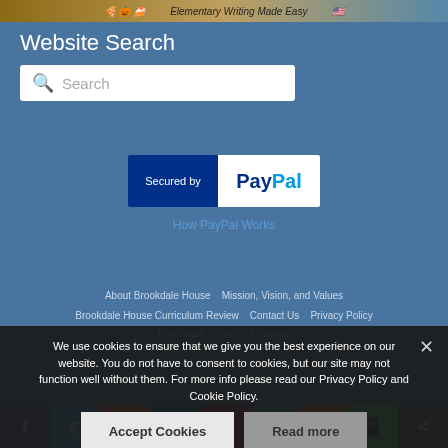[Figure (photo): Top banner with food images and 'Elementary Writing Made Easy' text]
Website Search
[Figure (other): Search bar with magnifying glass icon and placeholder text 'Search']
[Figure (logo): Secured by PayPal badge - blue left side with white text 'Secured by' and white right side with PayPal logo]
How PayPal Works
About Brookdale House   Mission, Vision, and Values
Brookdale House Curriculum Review   Contact Us   Privacy Policy
Disclosure   Terms of Service
© [201...
We use cookies to ensure that we give you the best experience on our website. You do not have to consent to cookies, but our site may not function well without them. For more info please read our Privacy Policy and Cookie Policy.
Accept Cookies
Read more
[Figure (other): Social sharing bar with icons: Facebook, Twitter, Reddit, LinkedIn, Pinterest, MeWe, Mix, WhatsApp, Share]